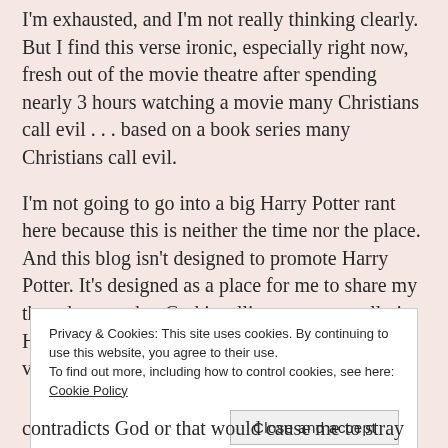I'm exhausted, and I'm not really thinking clearly. But I find this verse ironic, especially right now, fresh out of the movie theatre after spending nearly 3 hours watching a movie many Christians call evil . . . based on a book series many Christians call evil.
I'm not going to go into a big Harry Potter rant here because this is neither the time nor the place. And this blog isn't designed to promote Harry Potter. It's designed as a place for me to share my thoughts on what God is telling me personally in His Word. And what this verse tells me this very very early morning
Privacy & Cookies: This site uses cookies. By continuing to use this website, you agree to their use.
To find out more, including how to control cookies, see here: Cookie Policy
Close and accept
contradicts God or that would cause me to stray